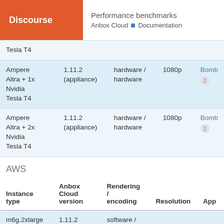Performance benchmarks | Anbox Cloud Documentation
| Instance type | Anbox Cloud version | Rendering / encoding | Resolution | App |
| --- | --- | --- | --- | --- |
| Tesla T4 |  |  |  |  |
| Ampere Altra + 1x Nvidia Tesla T4 | 1.11.2 (appliance) | hardware / hardware | 1080p | Bomb 2 |
| Ampere Altra + 2x Nvidia Tesla T4 | 1.11.2 (appliance) | hardware / hardware | 1080p | Bomb 2 |
AWS
| Instance type | Anbox Cloud version | Rendering / encoding | Resolution | App |
| --- | --- | --- | --- | --- |
| m6g.2xlarge | 1.11.2 (appliance) | software / software |  |  |